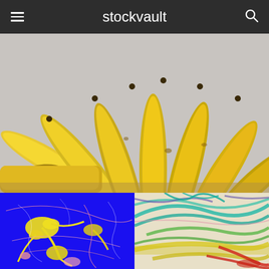stockvault
[Figure (photo): Close-up photo of a bunch of yellow bananas spread out like a fan against a light grey background]
[Figure (photo): Abstract art with yellow paint splatter and drip patterns on a royal blue background, with pink accent lines]
[Figure (photo): Colorful crayon or chalk scribble art with teal, green, yellow, pink, and red marks on a light background]